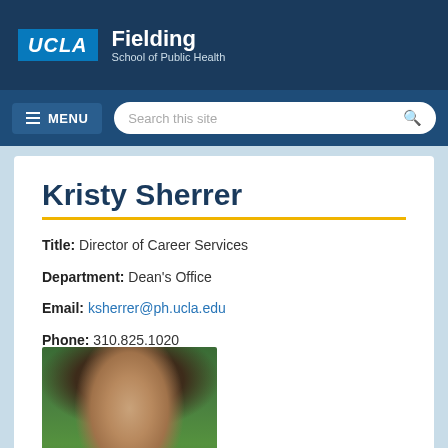[Figure (logo): UCLA Fielding School of Public Health logo with navy background]
MENU | Search this site
Kristy Sherrer
Title: Director of Career Services
Department: Dean's Office
Email: ksherrer@ph.ucla.edu
Phone: 310.825.1020
[Figure (photo): Photo of Kristy Sherrer, a woman with long brown hair, outdoors with green foliage in background]